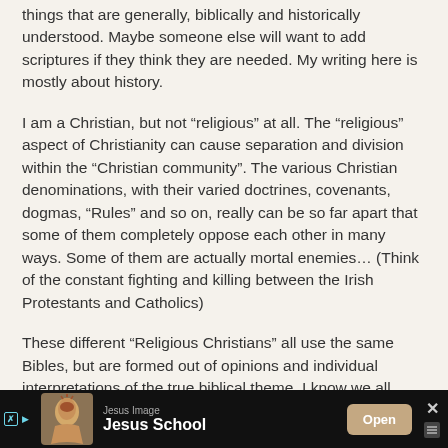things that are generally, biblically and historically understood. Maybe someone else will want to add scriptures if they think they are needed. My writing here is mostly about history.
I am a Christian, but not “religious” at all. The “religious” aspect of Christianity can cause separation and division within the “Christian community”. The various Christian denominations, with their varied doctrines, covenants, dogmas, “Rules” and so on, really can be so far apart that some of them completely oppose each other in many ways. Some of them are actually mortal enemies… (Think of the constant fighting and killing between the Irish Protestants and Catholics)
These different “Religious Christians” all use the same Bibles, but are formed out of opinions and individual interpretations of the true biblical theme. I know we all think in our
[Figure (screenshot): Advertisement bar at the bottom of the screen. Shows a Jesus Image ad for 'Jesus School' with an Open button, an X close button, and ad badges.]